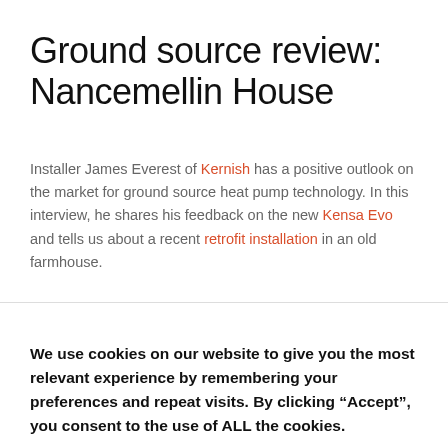Ground source review: Nancemellin House
Installer James Everest of Kernish has a positive outlook on the market for ground source heat pump technology. In this interview, he shares his feedback on the new Kensa Evo and tells us about a recent retrofit installation in an old farmhouse.
We use cookies on our website to give you the most relevant experience by remembering your preferences and repeat visits. By clicking “Accept”, you consent to the use of ALL the cookies.
Cookie settings
Accept Cookies